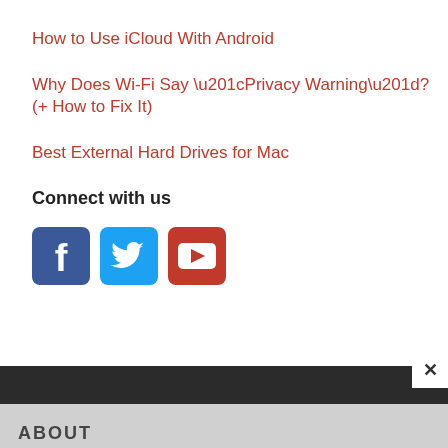How to Use iCloud With Android
Why Does Wi-Fi Say “Privacy Warning”? (+ How to Fix It)
Best External Hard Drives for Mac
Connect with us
[Figure (infographic): Three social media icons: Facebook (blue rounded square), Twitter (light blue rounded square), YouTube (red rounded square with play button)]
ABOUT